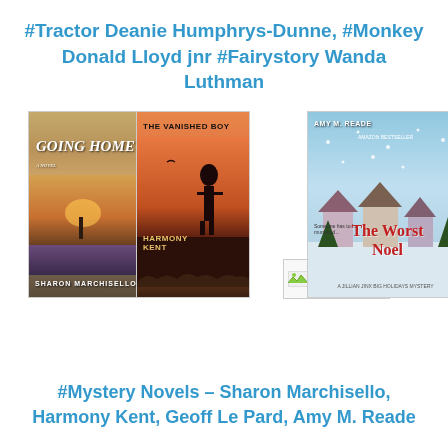#Tractor Deanie Humphrys-Dunne, #Monkey Donald Lloyd jnr #Fairystory Wanda Luthman
[Figure (photo): Three book covers side by side: 'Going Home' by Sharon Marchisello (left, sunset/path scene), 'The Vanished Boy' by Harmony Kent (center, silhouette against orange sky), and 'The Worst Noel' by Amy M. Reade (right, snowy village Christmas scene). A small broken image placeholder appears between the center and right covers.]
#Mystery Novels – Sharon Marchisello, Harmony Kent, Geoff Le Pard, Amy M. Reade